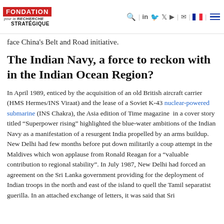FONDATION pour la RECHERCHE STRATÉGIQUE [logo with navigation icons]
face China's Belt and Road initiative.
The Indian Navy, a force to reckon with in the Indian Ocean Region?
In April 1989, enticed by the acquisition of an old British aircraft carrier (HMS Hermes/INS Viraat) and the lease of a Soviet K-43 nuclear-powered submarine (INS Chakra), the Asia edition of Time magazine  in a cover story titled “Superpower rising” highlighted the blue-water ambitions of the Indian Navy as a manifestation of a resurgent India propelled by an arms buildup. New Delhi had few months before put down militarily a coup attempt in the Maldives which won applause from Ronald Reagan for a “valuable contribution to regional stability”. In July 1987, New Delhi had forced an agreement on the Sri Lanka government providing for the deployment of Indian troops in the north and east of the island to quell the Tamil separatist guerilla. In an attached exchange of letters, it was said that Sri